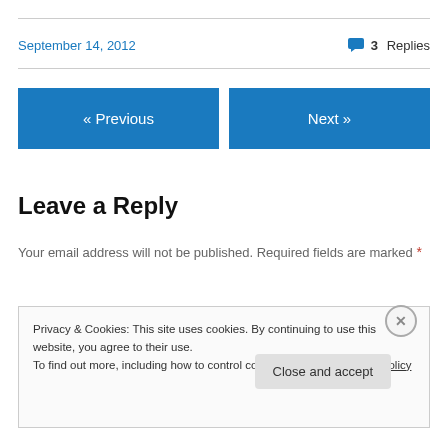September 14, 2012
3 Replies
« Previous
Next »
Leave a Reply
Your email address will not be published. Required fields are marked *
Privacy & Cookies: This site uses cookies. By continuing to use this website, you agree to their use. To find out more, including how to control cookies, see here: Cookie Policy
Close and accept